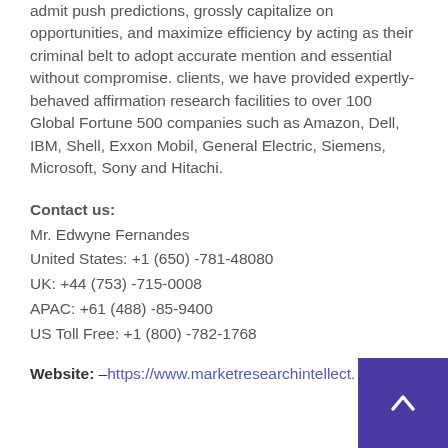admit push predictions, grossly capitalize on opportunities, and maximize efficiency by acting as their criminal belt to adopt accurate mention and essential without compromise. clients, we have provided expertly-behaved affirmation research facilities to over 100 Global Fortune 500 companies such as Amazon, Dell, IBM, Shell, Exxon Mobil, General Electric, Siemens, Microsoft, Sony and Hitachi.
Contact us:
Mr. Edwyne Fernandes
United States: +1 (650) -781-48080
UK: +44 (753) -715-0008
APAC: +61 (488) -85-9400
US Toll Free: +1 (800) -782-1768
Website: –https://www.marketresearchintellect.